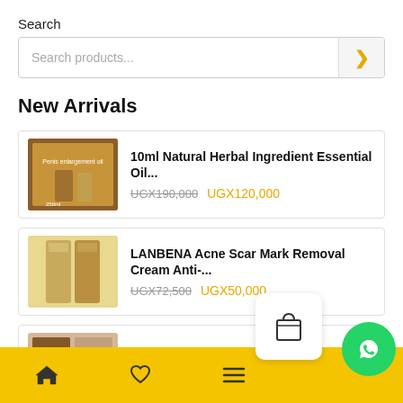Search
Search products...
New Arrivals
10ml Natural Herbal Ingredient Essential Oil... UGX190,000 UGX120,000
LANBENA Acne Scar Mark Removal Cream Anti-... UGX72,500 UGX50,000
Disaar Snake Oil Stop Hair - 30ml UGX100,000 UGX70,000
2 Pack of Unisex Hoodie Jumpers - Grey... UGX89,000 UGX72,000
Home | Wishlist | Menu | Cart